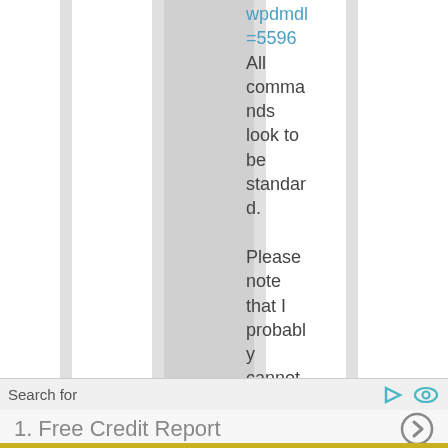wpdmdl=5596 All commands look to be standard. Please note that I probably cannot help
Search for
1.  Free Credit Report